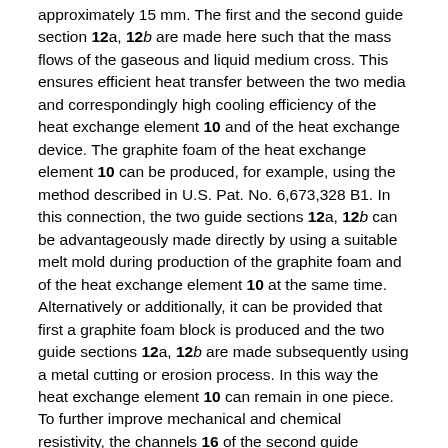approximately 15 mm. The first and the second guide section 12a, 12b are made here such that the mass flows of the gaseous and liquid medium cross. This ensures efficient heat transfer between the two media and correspondingly high cooling efficiency of the heat exchange element 10 and of the heat exchange device. The graphite foam of the heat exchange element 10 can be produced, for example, using the method described in U.S. Pat. No. 6,673,328 B1. In this connection, the two guide sections 12a, 12b can be advantageously made directly by using a suitable melt mold during production of the graphite foam and of the heat exchange element 10 at the same time. Alternatively or additionally, it can be provided that first a graphite foam block is produced and the two guide sections 12a, 12b are made subsequently using a metal cutting or erosion process. In this way the heat exchange element 10 can remain in one piece. To further improve mechanical and chemical resistivity, the channels 16 of the second guide section 12b in this embodiment are provided with a basically optional copper coating. The coating can be produced, for example, using a galvanic immersion bath. In contrast to the use of tubes and the like which have been cemented in, which is known from the prior art, it is ensured here that as a result of the small thickness of the coating, the large contact surface between the coating and the coolant and the high thermal conductivity of the copper, correspondingly efficient heat transfer between the two media can take place. Instead of copper of course other materials can also be used, such as, for example, aluminum.